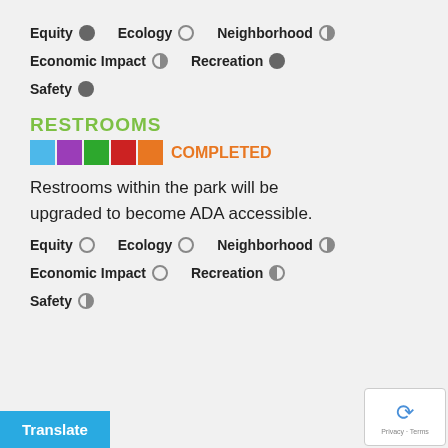Equity ● Ecology ○ Neighborhood ◑
Economic Impact ◑ Recreation ●
Safety ●
RESTROOMS
COMPLETED
Restrooms within the park will be upgraded to become ADA accessible.
Equity ○ Ecology ○ Neighborhood ◑
Economic Impact ○ Recreation ◑
Safety ◑